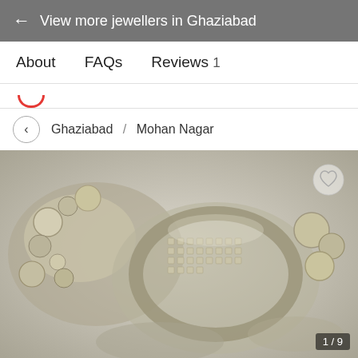← View more jewellers in Ghaziabad
About   FAQs   Reviews 1
Ghaziabad / Mohan Nagar
[Figure (photo): Close-up photograph of ornate silver/diamond jewellery (bangles or bracelets) with intricate embellishments against a light background. Image counter '1/9' shown in bottom right corner.]